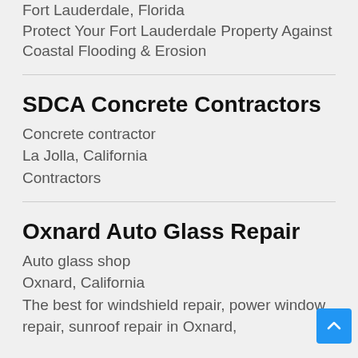Fort Lauderdale, Florida
Protect Your Fort Lauderdale Property Against Coastal Flooding & Erosion
SDCA Concrete Contractors
Concrete contractor
La Jolla, California
Contractors
Oxnard Auto Glass Repair
Auto glass shop
Oxnard, California
The best for windshield repair, power window repair, sunroof repair in Oxnard,